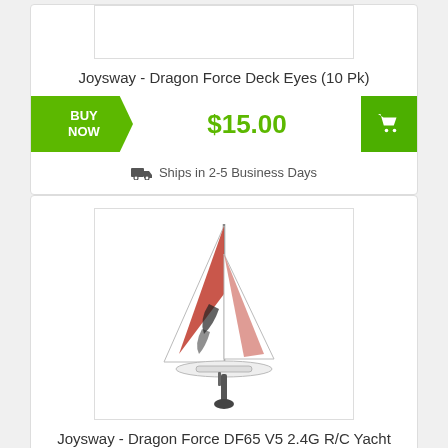Joysway - Dragon Force Deck Eyes (10 Pk)
BUY NOW
$15.00
Ships in 2-5 Business Days
[Figure (photo): RC sailboat - Joysway Dragon Force DF65 V5 2.4G R/C Yacht with red and white sails]
Joysway - Dragon Force DF65 V5 2.4G R/C Yacht